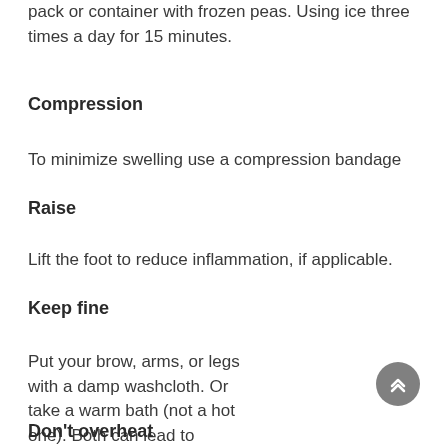pack or container with frozen peas. Using ice three times a day for 15 minutes.
Compression
To minimize swelling use a compression bandage
Raise
Lift the foot to reduce inflammation, if applicable.
Keep fine
Put your brow, arms, or legs with a damp washcloth. Or take a warm bath (not a hot one). Both can lead to keeping the temperature down.
Don't overheat